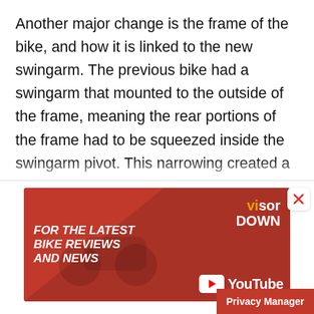Another major change is the frame of the bike, and how it is linked to the new swingarm. The previous bike had a swingarm that mounted to the outside of the frame, meaning the rear portions of the frame had to be squeezed inside the swingarm pivot. This narrowing created a certain amount of flex at the rear of the bike, something that Yamaha was keen to fix for this year. With the 2022 bike now using a swingarm pivot that is
[Figure (infographic): Advertisement banner for Visor Down YouTube channel. Red background with white bold italic text 'FOR THE LATEST BIKE REVIEWS AND NEWS', Visor Down logo on the right, YouTube play button and YouTube wordmark. An X close button is shown top-right of the ad area.]